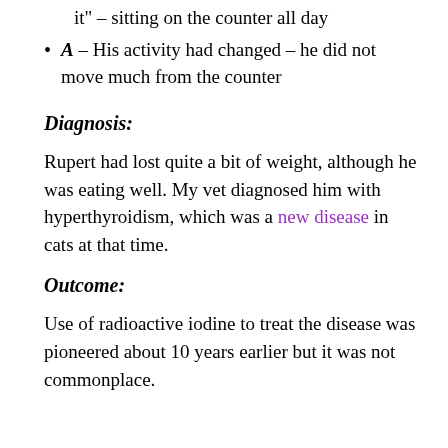it” – sitting on the counter all day
A – His activity had changed – he did not move much from the counter
Diagnosis:
Rupert had lost quite a bit of weight, although he was eating well. My vet diagnosed him with hyperthyroidism, which was a new disease in cats at that time.
Outcome:
Use of radioactive iodine to treat the disease was pioneered about 10 years earlier but it was not commonplace.